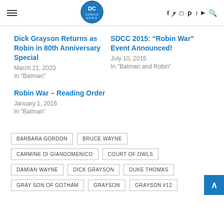DC Comics News logo with social media icons (facebook, twitter, instagram, pinterest, tumblr, youtube, search)
Dick Grayson Returns as Robin in 80th Anniversary Special
March 21, 2020
In "Batman"
SDCC 2015: “Robin War” Event Announced!
July 10, 2015
In "Batman and Robin"
Robin War – Reading Order
January 1, 2016
In "Batman"
BARBARA GORDON
BRUCE WAYNE
CARMINE DI GIANDOMENICO
COURT OF OWLS
DAMIAN WAYNE
DICK GRAYSON
DUKE THOMAS
GRAY SON OF GOTHAM
GRAYSON
GRAYSON #12